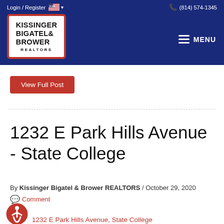Login / Register  (814) 574-1345
[Figure (logo): Kissinger Bigatel & Brower REALTORS logo in white box with red border on dark blue navigation bar]
View Full Post
1232 E Park Hills Avenue - State College
By Kissinger Bigatel & Brower REALTORS / October 29, 2020
Comment
1232 E Park Hills Avenue, State College